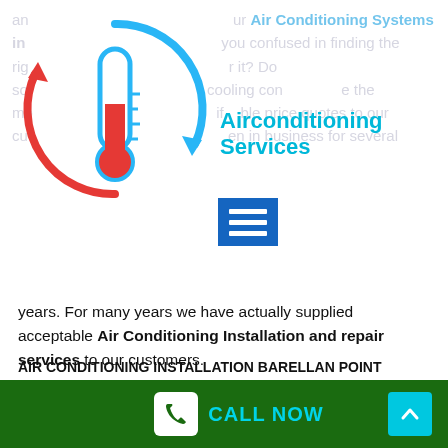[Figure (illustration): Circular air conditioning icon with a thermometer in the center, blue circle outline with arrow, red arrow below, blue and red colors indicating cooling and heating]
Airconditioning Services
years. For many years we have actually supplied acceptable Air Conditioning Installation and repair services to our customers.
AIR CONDITIONING INSTALLATION BARELLAN POINT
We supply cooling services in both business and suburbs of Brisbane. We provide repair work and maintenance for cooling systems of all major and leading brand names. It's been more than a decade
CALL NOW